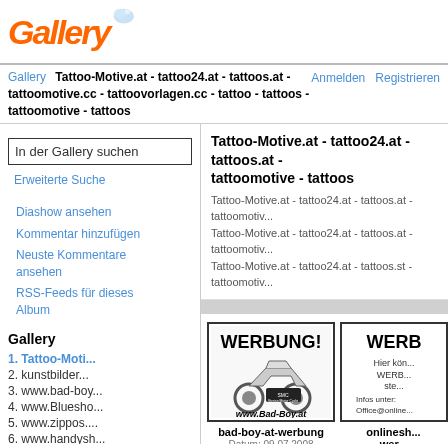Gallery
Gallery  Tattoo-Motive.at - tattoo24.at - tattoos.at - tattoomotive.cc - tattoovorlagen.cc - tattoo - tattoos - tattoomotive - tattoos   Anmelden  Registrieren
In der Gallery suchen
Erweiterte Suche
Diashow ansehen
Kommentar hinzufügen
Neuste Kommentare ansehen
RSS-Feeds für dieses Album
Gallery
1. Tattoo-Moti...
2. kunstbilder...
3. www.bad-boy...
4. www.Bluesh o...
5. www.zippos....
6. www.handysh...
7. Froschauer ...
...
27. zipposhop24...
Tattoo-Motive.at - tattoo24.at - tattoos.at - tattoomotive - tattoos
Tattoo-Motive.at - tattoo24.at - tattoos.at - tattoomotiv...
Tattoo-Motive.at - tattoo24.at - tattoos.at - tattoomotiv...
Tattoo-Motive.at - tattoo24.at - tattoos.st - tattoomotiv...
[Figure (photo): Advertisement banner for Bad-Boy.at showing a motorcycle with text WERBUNG! and www.Bad-Boy.at]
bad-boy-at-werbung
Datum: 09.07.2008
Betrachtungen: 8985
[Figure (photo): Partial advertisement banner with text WERB... and Hier kön... WERB... ste... Infos unter: Office@online...]
onlinesh... wer...
Datum: 1...
Betrachtun...